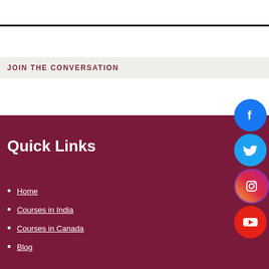JOIN THE CONVERSATION
Quick Links
Home
Courses in India
Courses in Canada
Blog